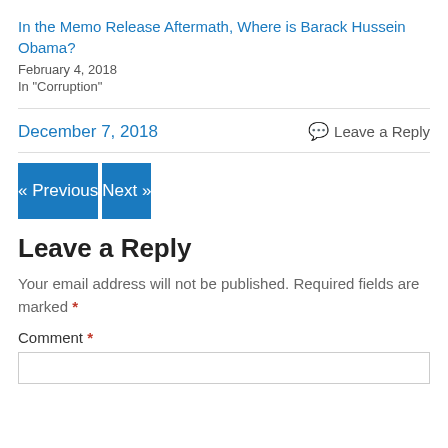In the Memo Release Aftermath, Where is Barack Hussein Obama?
February 4, 2018
In "Corruption"
December 7, 2018
Leave a Reply
« Previous
Next »
Leave a Reply
Your email address will not be published. Required fields are marked *
Comment *